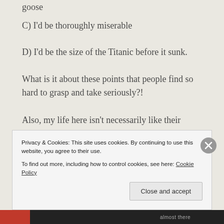goose
C) I'd be thoroughly miserable
D) I'd be the size of the Titanic before it sunk.
What is it about these points that people find so hard to grasp and take seriously?!
Also, my life here isn't necessarily like their lives.
I don't work full time, I have a boyfriend I enjoy spending time with (which usually consists of mainly weekends as he works so much), and I also have a life which still exists in the UK too
Privacy & Cookies: This site uses cookies. By continuing to use this website, you agree to their use.
To find out more, including how to control cookies, see here: Cookie Policy
Close and accept